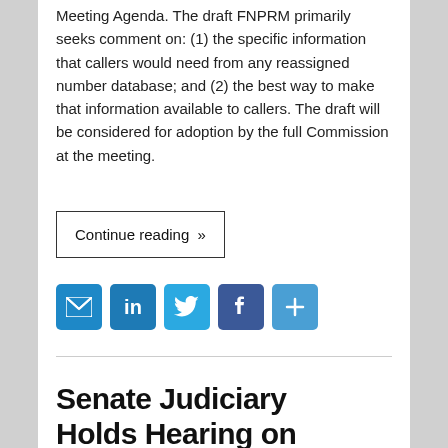Meeting Agenda. The draft FNPRM primarily seeks comment on: (1) the specific information that callers would need from any reassigned number database; and (2) the best way to make that information available to callers. The draft will be considered for adoption by the full Commission at the meeting.
Continue reading »
[Figure (infographic): Social sharing icons: email, LinkedIn, Twitter, Facebook, and a generic share/plus button]
Senate Judiciary Holds Hearing on